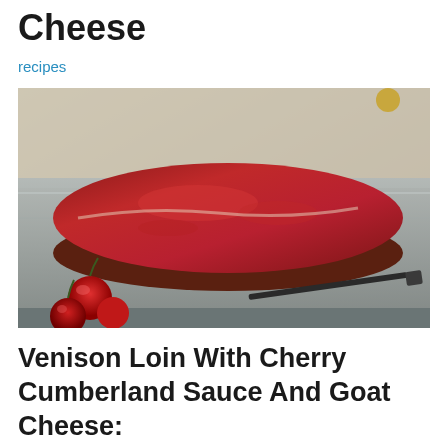Cheese
recipes
[Figure (photo): Raw venison loin on a metal baking tray with red cherries and a knife nearby]
Venison Loin With Cherry Cumberland Sauce And Goat Cheese: